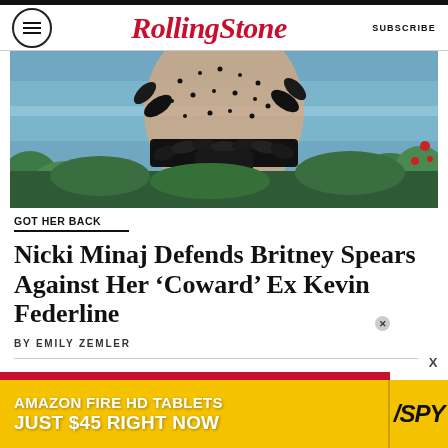RollingStone | SUBSCRIBE
[Figure (photo): Close-up photo of a person wearing a sheer outfit with black dot/star embellishments and black feathers across the torso, shot outdoors with green foliage and blue water/steps in background]
GOT HER BACK
Nicki Minaj Defends Britney Spears Against Her ‘Coward’ Ex Kevin Federline
BY EMILY ZEMLER
[Figure (infographic): Advertisement banner: AMAZON FIRE HD TABLETS JUST $45 RIGHT NOW | SPY]